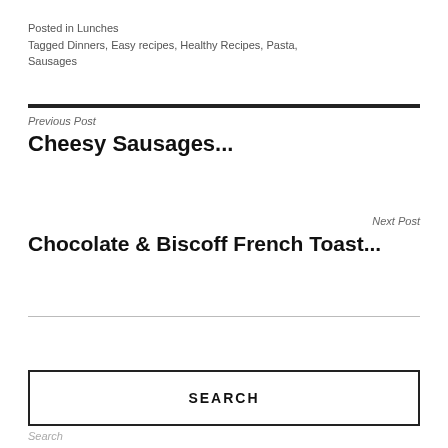Posted in Lunches
Tagged Dinners, Easy recipes, Healthy Recipes, Pasta, Sausages
Previous Post
Cheesy Sausages...
Next Post
Chocolate & Biscoff French Toast...
SEARCH
Search